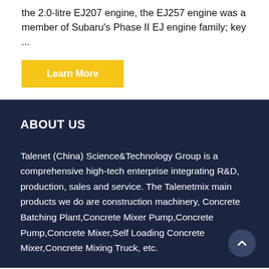the 2.0-litre EJ207 engine, the EJ257 engine was a member of Subaru's Phase II EJ engine family; key ...
Learn More
ABOUT US
Talenet (China) Science&Technology Group is a comprehensive high-tech enterprise integrating R&D, production, sales and service. The Talenetmix main products we do are construction machinery, Concrete Batching Plant,Concrete Mixer Pump,Concrete Pump,Concrete Mixer,Self Loading Concrete Mixer,Concrete Mixing Truck, etc.